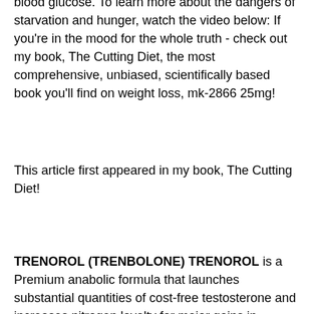blood glucose. To learn more about the dangers of starvation and hunger, watch the video below: If you're in the mood for the whole truth - check out my book, The Cutting Diet, the most comprehensive, unbiased, scientifically based book you'll find on weight loss, mk-2866 25mg!
This article first appeared in my book, The Cutting Diet!
TRENOROL (TRENBOLONE) TRENOROL is a Premium anabolic formula that launches substantial quantities of cost-free testosterone and increases nitrogen loyalty for major gains in muscle mass, stamina, strength, and hypertrophy. The formula also promotes the delivery of critical growth factors for improved gene expression and muscle contractility. No need to take anabolic steroids for muscle-building, and if you are a